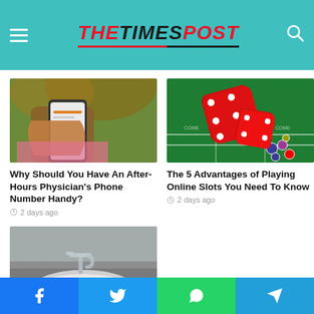THE TIMES POST
[Figure (photo): Person holding a smartphone showing a health/medical app, outdoors with blurred green background]
Why Should You Have An After-Hours Physician's Phone Number Handy?
2 days ago
[Figure (photo): Red dice rolling on a green casino craps table with colorful poker chips]
The 5 Advantages of Playing Online Slots You Need To Know
2 days ago
[Figure (photo): White oval bathroom sink with chrome faucet on grey countertop]